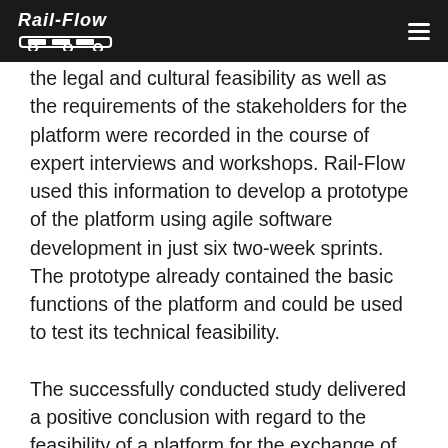Rail-Flow
the legal and cultural feasibility as well as the requirements of the stakeholders for the platform were recorded in the course of expert interviews and workshops. Rail-Flow used this information to develop a prototype of the platform using agile software development in just six two-week sprints. The prototype already contained the basic functions of the platform and could be used to test its technical feasibility.
The successfully conducted study delivered a positive conclusion with regard to the feasibility of a platform for the exchange of free locomotives between players in rail freight transport, who showed great interest in the application. The different methods used